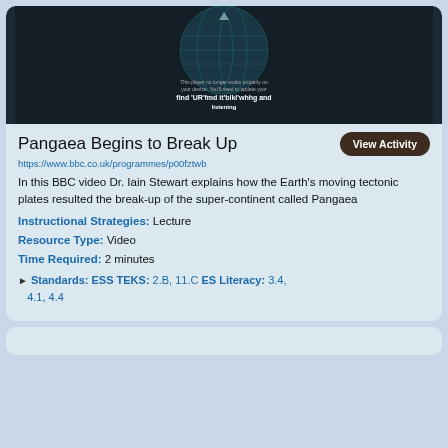[Figure (screenshot): BBC video player screenshot showing a dark globe/earth image with text overlay indicating the player no longer works and needs an update to continue watching and listening]
Pangaea Begins to Break Up
https://www.bbc.co.uk/programmes/p00fztwb
In this BBC video Dr. Iain Stewart explains how the Earth's moving tectonic plates resulted the break-up of the super-continent called Pangaea
Instructional Strategies: Lecture
Resource Type: Video
Time Required: 2 minutes
Standards: ESS TEKS: 2.B, 11.C ES Literacy: 3.4, 4.1, 4.4